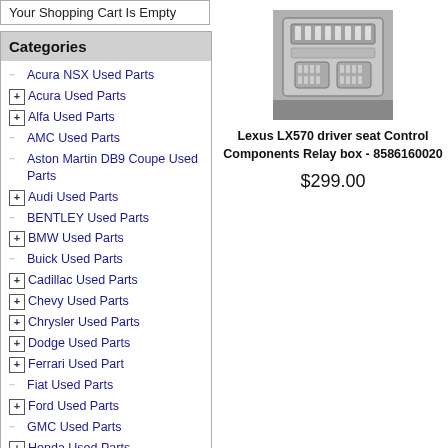Your Shopping Cart Is Empty
Categories
Acura NSX Used Parts
Acura Used Parts
Alfa Used Parts
AMC Used Parts
Aston Martin DB9 Coupe Used Parts
Audi Used Parts
BENTLEY Used Parts
BMW Used Parts
Buick Used Parts
Cadillac Used Parts
Chevy Used Parts
Chrysler Used Parts
Dodge Used Parts
Ferrari Used Part
Fiat Used Parts
Ford Used Parts
GMC Used Parts
Honda Used Parts
[Figure (photo): Photo of a Lexus LX570 driver seat control components relay box, part number 8586160020, showing a gray electronic module with connectors]
Lexus LX570 driver seat Control Components Relay box - 8586160020
$299.00